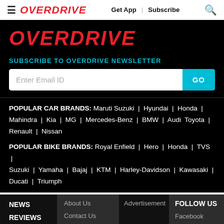☰ OVERDRIVE  Get App | Subscribe 🔍
OVERDRIVE
SUBSCRIBE TO OVERDRIVE NEWSLETTER
Enter Email ID   GO
POPULAR CAR BRANDS: Maruti Suzuki | Hyundai | Honda | Mahindra | Kia | MG | Mercedes-Benz | BMW | Audi Toyota | Renault | Nissan
POPULAR BIKE BRANDS: Royal Enfield | Hero | Honda | TVS | Suzuki | Yamaha | Bajaj | KTM | Harley-Davidson | Kawasaki | Ducati | Triumph
NEWS   REVIEWS   FEATURES   About Us   Contact Us   Privacy Policy   Advertisement   FOLLOW US   Facebook   Twitter